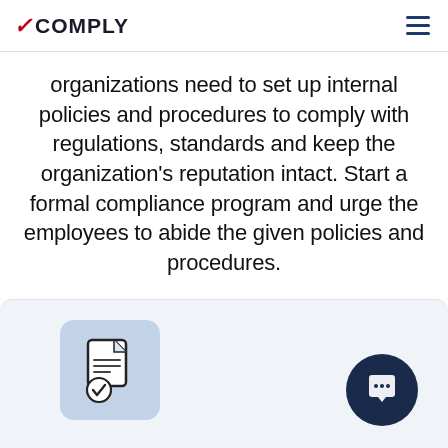VCOMPLY
organizations need to set up internal policies and procedures to comply with regulations, standards and keep the organization’s reputation intact. Start a formal compliance program and urge the employees to abide the given policies and procedures.
[Figure (illustration): Document with checkmark icon on a light blue rounded square background, and a dark navy chat/message bubble button on the right side.]